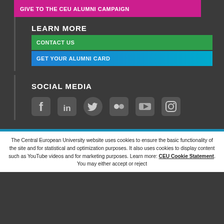GIVE TO THE CEU ALUMNI CAMPAIGN
LEARN MORE
CONTACT US
GET YOUR ALUMNI CARD
SOCIAL MEDIA
[Figure (illustration): Social media icons: Facebook, LinkedIn, Twitter, Flickr, YouTube, Instagram]
The Central European University website uses cookies to ensure the basic functionality of the site and for statistical and optimization purposes. It also uses cookies to display content such as YouTube videos and for marketing purposes. Learn more: CEU Cookie Statement. You may either accept or reject